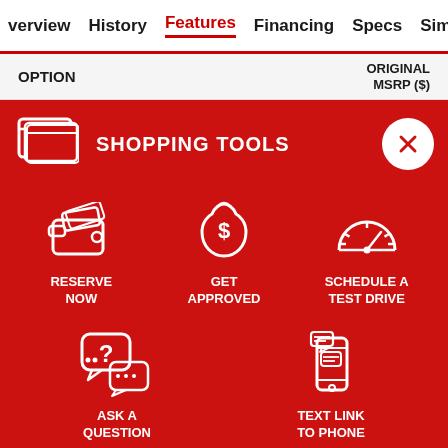verview  History  Features  Financing  Specs  Similar
OPTION   ORIGINAL MSRP ($)
[Figure (screenshot): Red shopping tools panel with icons: Shopping Tools header with gear/browser icon and X close button. Icons for Reserve Now (wallet), Get Approved (money bag with dollar sign), Schedule a Test Drive (speedometer), Ask a Question (speech bubbles with question mark), Text Link to Phone (phone with message).]